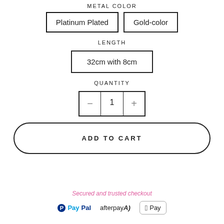METAL COLOR
Platinum Plated
Gold-color
LENGTH
32cm with 8cm
QUANTITY
- 1 +
ADD TO CART
Secured and trusted checkout
[Figure (logo): Payment method logos: PayPal, Afterpay, Apple Pay]